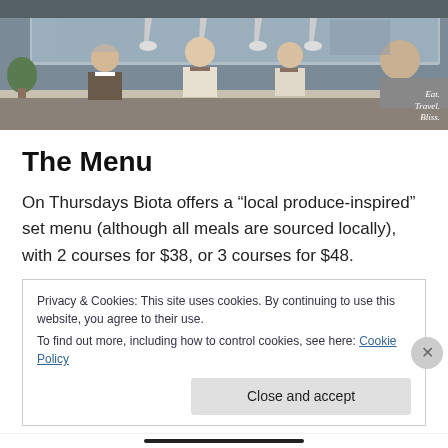[Figure (photo): Kitchen interior showing three chefs in aprons working at an open kitchen counter with pendant lights. Watermark reads 'Eat. Travel. Bliss.' in bottom right corner.]
The Menu
On Thursdays Biota offers a “local produce-inspired” set menu (although all meals are sourced locally), with 2 courses for $38, or 3 courses for $48.
Privacy & Cookies: This site uses cookies. By continuing to use this website, you agree to their use.
To find out more, including how to control cookies, see here: Cookie Policy

Close and accept